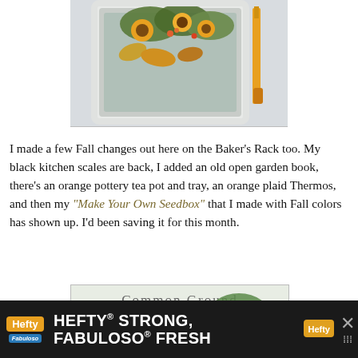[Figure (photo): Photo of a white-framed square mirror or door with fall floral arrangement including sunflowers, autumn leaves, and berries. A torch or thermometer is visible to the right.]
I made a few Fall changes out here on the Baker's Rack too. My black kitchen scales are back, I added an old open garden book, there's an orange pottery tea pot and tray, an orange plaid Thermos, and then my "Make Your Own Seedbox" that I made with Fall colors has shown up. I'd been saving it for this month.
[Figure (photo): Photo of a baker's rack decorated for fall with text 'Common Ground' visible, featuring a white pumpkin, greenery, books, and fall decor.]
[Figure (infographic): Advertisement banner for Hefty Strong, Fabuloso Fresh products with Hefty and Fabuloso logos on black background.]